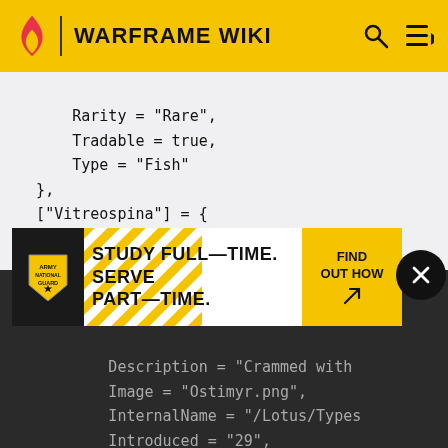WARFRAME WIKI
Rarity = "Rare",
    Tradable = true,
    Type = "Fish"
},
["Vitreospina"] = {
        Description = "Whatever high
        Image = "Vitreospina.png",
        InternalName = "",
        Introduced = "29",
        Link = "Vitreospina",
        Name = "Vitreospina",
        Rarity = "Uncommon",
        Tradable = true,
        Type = "Fish",
[Figure (other): Army National Guard advertisement: STUDY FULL-TIME. SERVE PART-TIME. FIND OUT HOW]
Description = "Crammed with
        Image = "Ostimyr.png",
        InternalName = "/Lotus/Types
        Introduced = "29",